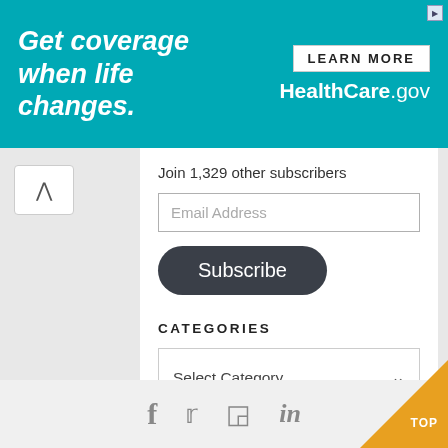[Figure (illustration): HealthCare.gov advertisement banner with teal background. Left side shows italic bold white text 'Get coverage when life changes.' Right side shows white 'LEARN MORE' button and 'HealthCare.gov' in white text.]
Join 1,329 other subscribers
Email Address
Subscribe
CATEGORIES
Select Category
ARCHIVES
Select Month